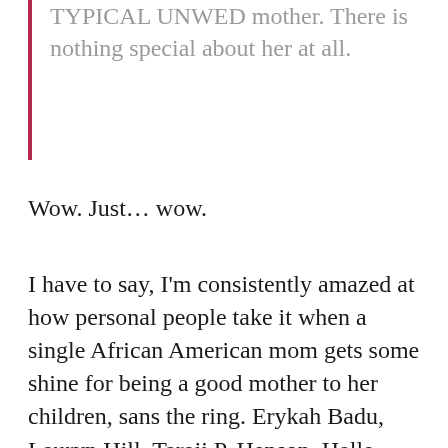TYPICAL UNWED mother. There is nothing special about her at all.
Wow. Just… wow.
I have to say, I'm consistently amazed at how personal people take it when a single African American mom gets some shine for being a good mother to her children, sans the ring. Erykah Badu, Lauryn Hill, Taraji P. Henson, Halle Berry, Nia—black people reserve a special kind of vitriol for these mothers, calling them and their children all out their names, with absolutely no regard for the